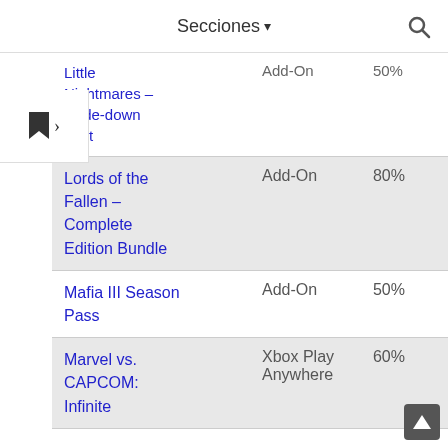Secciones ▾
| Name | Type | Discount |
| --- | --- | --- |
| Little Nightmares – Upside-down Teapot | Add-On | 50% |
| Lords of the Fallen – Complete Edition Bundle | Add-On | 80% |
| Mafia III Season Pass | Add-On | 50% |
| Marvel vs. CAPCOM: Infinite | Xbox Play Anywhere | 60% |